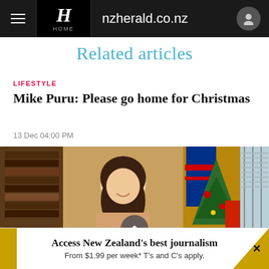nzherald.co.nz
Related articles
LIFESTYLE
Mike Puru: Please go home for Christmas
13 Dec 04:00 PM
[Figure (photo): Woman smiling in an office setting with a New Zealand flag and Christmas tree in background]
Access New Zealand's best journalism From $1.99 per week* T's and C's apply.